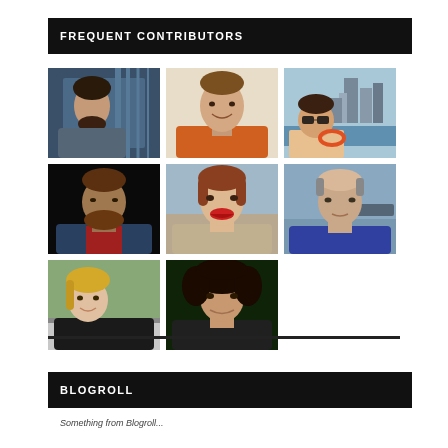FREQUENT CONTRIBUTORS
[Figure (photo): Grid of 8 contributor portrait photos arranged in 3 rows: row 1 has 3 photos (dark-haired young man in front of blinds, smiling young man in orange shirt, man in sunglasses in front of Singapore skyline); row 2 has 3 photos (bearded man in dark setting, woman with red lipstick smiling, balding man); row 3 has 2 photos (blonde woman on balcony, young woman with curly dark hair)]
BLOGROLL